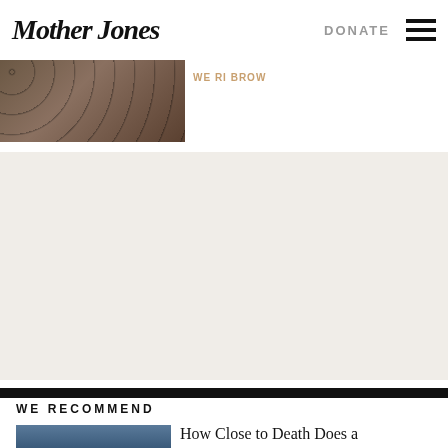Mother Jones
DONATE
[Figure (photo): Partial photo of an article — dark wooden surface with dotted pattern]
WE RI BROW (partial/truncated text in orange)
[Figure (other): Gray advertisement area placeholder]
WE RECOMMEND
[Figure (photo): Partial photo of a person in blue clothing]
How Close to Death Does a